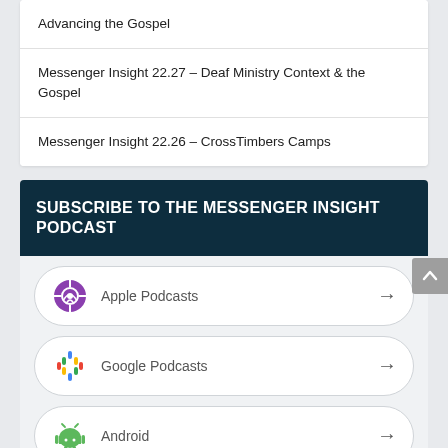Advancing the Gospel
Messenger Insight 22.27 – Deaf Ministry Context & the Gospel
Messenger Insight 22.26 – CrossTimbers Camps
SUBSCRIBE TO THE MESSENGER INSIGHT PODCAST
Apple Podcasts
Google Podcasts
Android
by Email